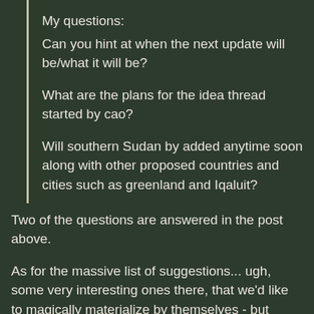My questions:
Can you hint at when the next update will be/what it will be?
What are the plans for the idea thread started by cao?
Will southern Sudan by added anytime soon along with other proposed countries and cities such as greenland and Iqaluit?
Two of the questions are answered in the post above.
As for the massive list of suggestions... ugh, some very interesting ones there, that we'd like to magically materialize by themselves - but honestly, we don't have enough manpower to attend to all of them, sorry. Perhaps a few will eventually find their way to our updates, we'll see.
Just read the other post, sounds amazing btw